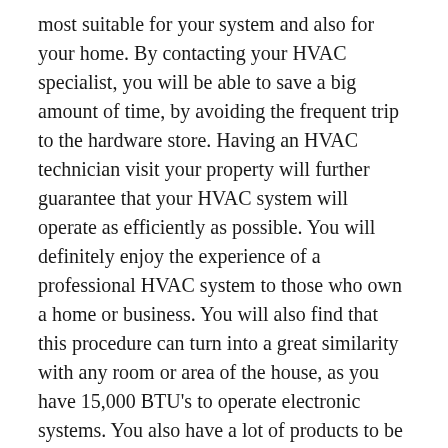most suitable for your system and also for your home. By contacting your HVAC specialist, you will be able to save a big amount of time, by avoiding the frequent trip to the hardware store. Having an HVAC technician visit your property will further guarantee that your HVAC system will operate as efficiently as possible. You will definitely enjoy the experience of a professional HVAC system to those who own a home or business. You will also find that this procedure can turn into a great similarity with any room or area of the house, as you have 15,000 BTU's to operate electronic systems. You also have a lot of products to be proud of as well, as you're environment will be thrived by HVAC systems.
December 11, 2021